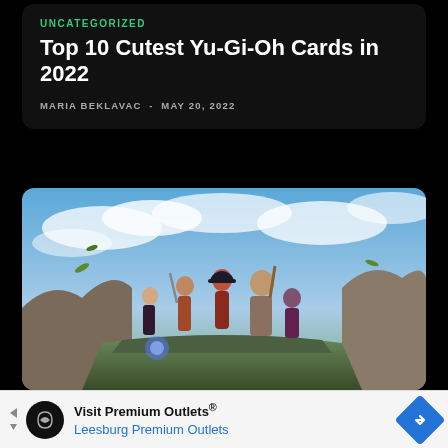UNCATEGORIZED
Top 10 Cutest Yu-Gi-Oh Cards in 2022
MARIA BEKLAVAC  -  MAY 20, 2022
[Figure (illustration): Fantasy game art showing a group of characters (pirates, warriors) standing heroically on a cliff with a dramatic sky background — League of Legends style artwork]
Visit Premium Outlets® Leesburg Premium Outlets